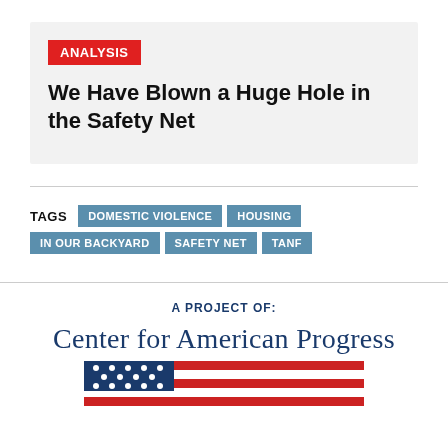ANALYSIS
We Have Blown a Huge Hole in the Safety Net
DOMESTIC VIOLENCE
HOUSING
IN OUR BACKYARD
SAFETY NET
TANF
A PROJECT OF:
[Figure (logo): Center for American Progress logo with American flag graphic]